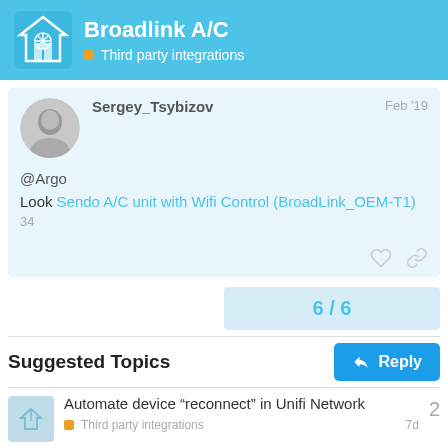Broadlink A/C — Third party integrations
Sergey_Tsybizov   Feb '19
@Argo
Look Sendo A/C unit with Wifi Control (BroadLink_OEM-T1) 34
6 / 6
Suggested Topics
Reply
Automate device “reconnect” in Unifi Network
Third party integrations   7d